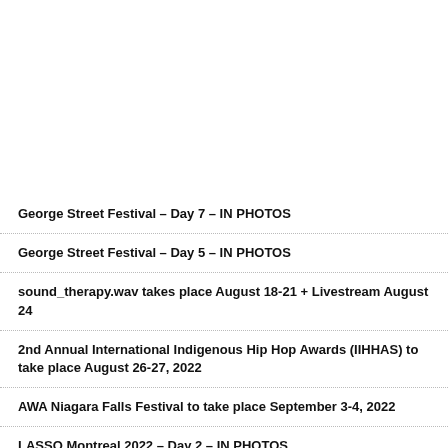George Street Festival – Day 7 – IN PHOTOS
George Street Festival – Day 5 – IN PHOTOS
sound_therapy.wav takes place August 18-21 + Livestream August 24
2nd Annual International Indigenous Hip Hop Awards (IIHHAS) to take place August 26-27, 2022
AWA Niagara Falls Festival to take place September 3-4, 2022
LASSO Montreal 2022 – Day 2 – IN PHOTOS